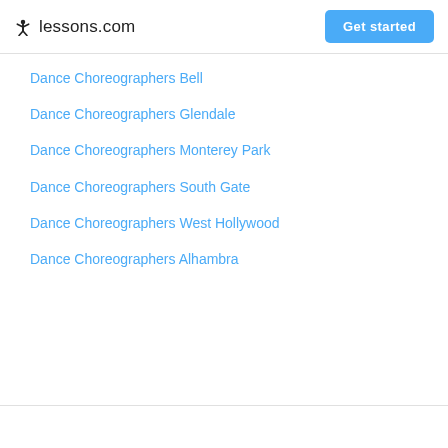lessons.com | Get started
Dance Choreographers Bell
Dance Choreographers Glendale
Dance Choreographers Monterey Park
Dance Choreographers South Gate
Dance Choreographers West Hollywood
Dance Choreographers Alhambra